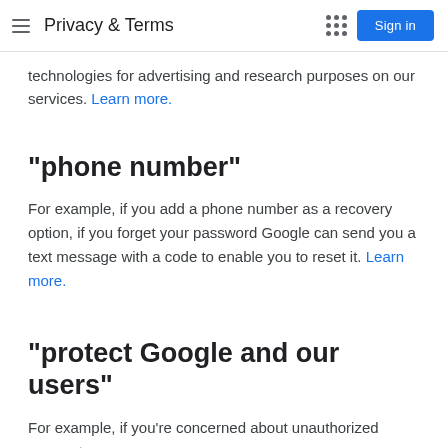Privacy & Terms
technologies for advertising and research purposes on our services. Learn more.
"phone number"
For example, if you add a phone number as a recovery option, if you forget your password Google can send you a text message with a code to enable you to reset it. Learn more.
"protect Google and our users"
For example, if you're concerned about unauthorized access to